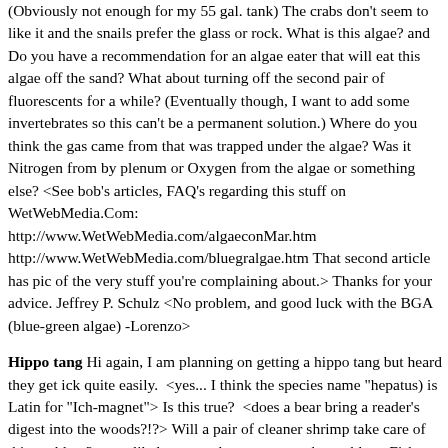(Obviously not enough for my 55 gal. tank) The crabs don't seem to like it and the snails prefer the glass or rock. What is this algae? and Do you have a recommendation for an algae eater that will eat this algae off the sand? What about turning off the second pair of fluorescents for a while? (Eventually though, I want to add some invertebrates so this can't be a permanent solution.) Where do you think the gas came from that was trapped under the algae? Was it Nitrogen from by plenum or Oxygen from the algae or something else? <See bob's articles, FAQ's regarding this stuff on WetWebMedia.Com: http://www.WetWebMedia.com/algaeconMar.htm http://www.WetWebMedia.com/bluegralgae.htm That second article has pic of the very stuff you're complaining about.> Thanks for your advice. Jeffrey P. Schulz <No problem, and good luck with the BGA (blue-green algae) -Lorenzo>
Hippo tang Hi again, I am planning on getting a hippo tang but heard they get ick quite easily.  <yes... I think the species name "hepatus) is Latin for "Ich-magnet"> Is this true?  <does a bear bring a reader's digest into the woods?!?> Will a pair of cleaner shrimp take care of this problem?  <not likely... a weak way to treat the problem. Fish get ich from compromises in aquarium husbandry. It's just that P. hepatus is more strict than most. Water changes with indiscriminately cooler water, lack of quarantine on entry, system temperature fluctuations between day and night, etc will all cause it to flare. If there is any fish that requires that you